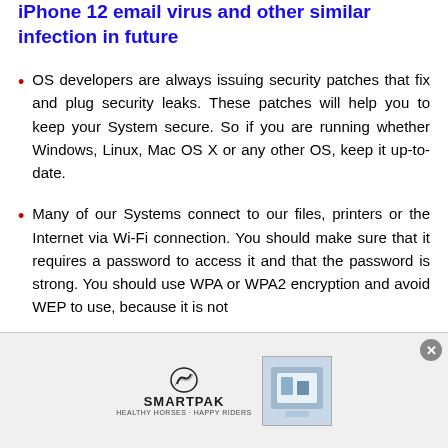iPhone 12 email virus and other similar infection in future
OS developers are always issuing security patches that fix and plug security leaks. These patches will help you to keep your System secure. So if you are running whether Windows, Linux, Mac OS X or any other OS, keep it up-to-date.
Many of our Systems connect to our files, printers or the Internet via Wi-Fi connection. You should make sure that it requires a password to access it and that the password is strong. You should use WPA or WPA2 encryption and avoid WEP to use, because it is not
[Figure (advertisement): SmartPak advertisement banner with logo and product image, with close button]